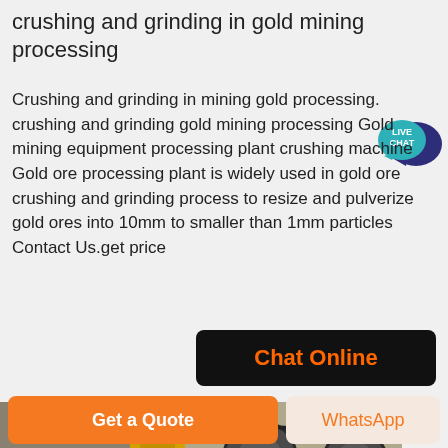crushing and grinding in gold mining processing
Crushing and grinding in mining gold processing. crushing and grinding gold mining processing Gold mining equipment processing plant crushing machine Gold ore processing plant is widely used in gold ore crushing and grinding process to resize and pulverize gold ores into 10mm to smaller than 1mm particles Contact Us.get price
[Figure (logo): Live Chat speech bubble icon with text LIVE CHAT in teal/blue color]
[Figure (other): Black button with orange text reading Chat Online]
[Figure (photo): Photograph of mining/crushing machine equipment showing metal wheels and pulleys]
[Figure (other): Orange Get a Quote button and light orange WhatsApp button at bottom of page]